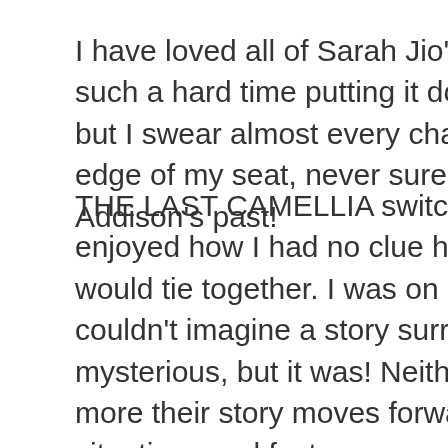I have loved all of Sarah Jio's books, but THE LA... such a hard time putting it down (yes, I always h... but I swear almost every chapter ended with a m... edge of my seat, never sure what was going to h... Addison's past!
THE LAST CAMELLIA switches between Flora a... enjoyed how I had no clue how either story woul... would tie together. I was on pins and needles. I'... couldn't imagine a story surrounding a camellia p... mysterious, but it was! Neither of the two women... more their story moves forward (especially Flora... situations and fast.